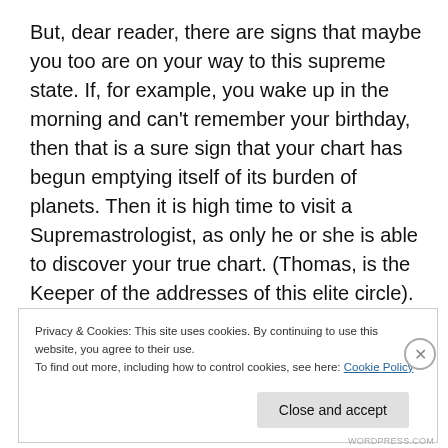But, dear reader, there are signs that maybe you too are on your way to this supreme state. If, for example, you wake up in the morning and can't remember your birthday, then that is a sure sign that your chart has begun emptying itself of its burden of planets. Then it is high time to visit a Supremastrologist, as only he or she is able to discover your true chart. (Thomas, is the Keeper of the addresses of this elite circle). Supremastrologist consultations are very expensive and very exclusive. But
Privacy & Cookies: This site uses cookies. By continuing to use this website, you agree to their use.
To find out more, including how to control cookies, see here: Cookie Policy
Close and accept
WORDPRESS.COM